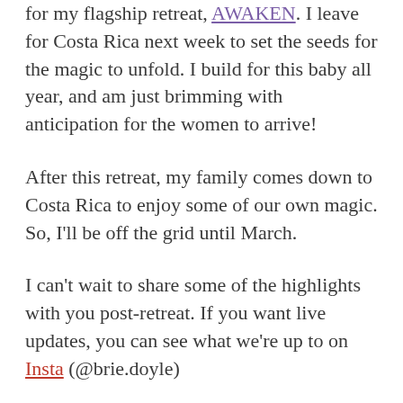for my flagship retreat, AWAKEN.  I leave for Costa Rica next week to set the seeds for the magic to unfold.  I build for this baby all year, and am just brimming with anticipation for the women to arrive!
After this retreat, my family comes down to Costa Rica to enjoy some of our own magic.  So, I'll be off the grid until March.
I can't wait to share some of the highlights with you post-retreat.  If you want live updates, you can see what we're up to on Insta (@brie.doyle)
Until then, I want to give a little glimpse of what's to come for She Glows in the